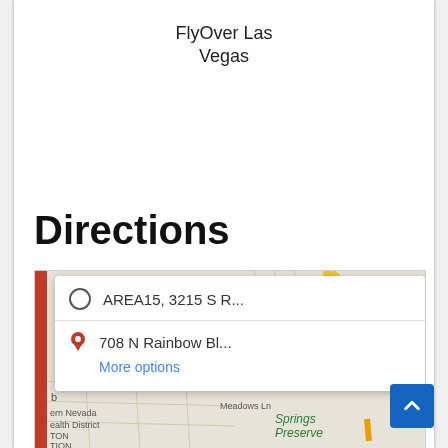FlyOver Las Vegas
Directions
[Figure (screenshot): Google Maps screenshot showing directions from AREA15, 3215 S R... to 708 N Rainbow Bl..., with a route displayed in blue over a street map of Las Vegas near Springs Preserve and Southern Nevada Health District area. A popup dialog shows the two address fields and a 'More options' link.]